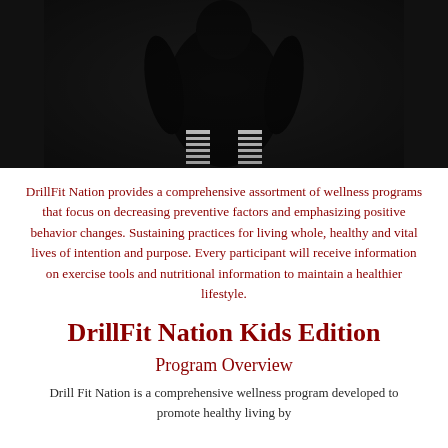[Figure (photo): Dark photograph of a person (athlete) in a crouched position, wearing black and white striped knee-length socks, dark clothing, against a dark background. Photo is centered on the page.]
DrillFit Nation provides a comprehensive assortment of wellness programs that focus on decreasing preventive factors and emphasizing positive behavior changes. Sustaining practices for living whole, healthy and vital lives of intention and purpose. Every participant will receive information on exercise tools and nutritional information to maintain a healthier lifestyle.
DrillFit Nation Kids Edition
Program Overview
Drill Fit Nation is a comprehensive wellness program developed to promote healthy living by